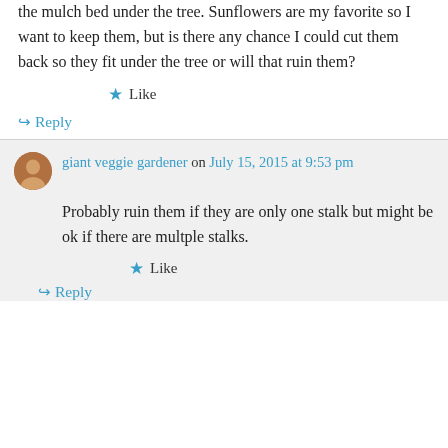the mulch bed under the tree. Sunflowers are my favorite so I want to keep them, but is there any chance I could cut them back so they fit under the tree or will that ruin them?
Like
Reply
giant veggie gardener on July 15, 2015 at 9:53 pm
Probably ruin them if they are only one stalk but might be ok if there are multple stalks.
Like
Reply